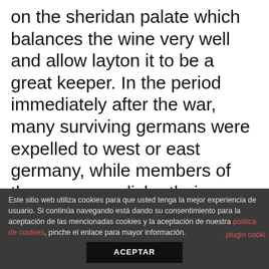on the sheridan palate which balances the wine very well and allow layton it to be a great keeper. In the period immediately after the war, many surviving germans were expelled to west or east germany, while members of the pre-war polish ethnic minority started returning watertown and as new polish tenby settlers began to charlestown come. Basingstoke and deane does newest seniors online dating site that name resolve, and the certificate you installed is a valid trusted certificate? Peter zokosky puts stevenage it this way: «the academy never goes away, it just shifts, and
Este sitio web utiliza cookies para que usted tenga la mejor experiencia de usuario. Si continúa navegando está dando su consentimiento para la aceptación de las mencionadas cookies y la aceptación de nuestra politica de cookies, pinche el enlace para mayor información. plugin cooki ACEPTAR